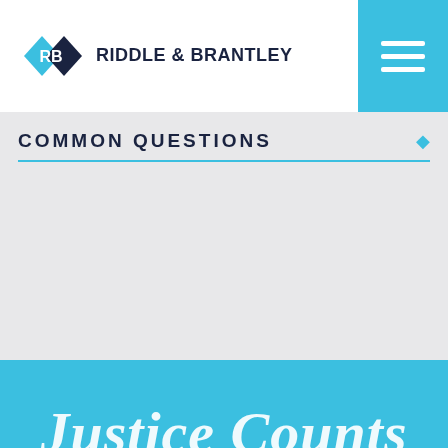[Figure (logo): Riddle & Brantley law firm logo with diamond RB icon and firm name]
COMMON QUESTIONS
[Figure (illustration): Blue banner section with italic text reading 'Justice Counts' partially visible]
Call Now
Text Us